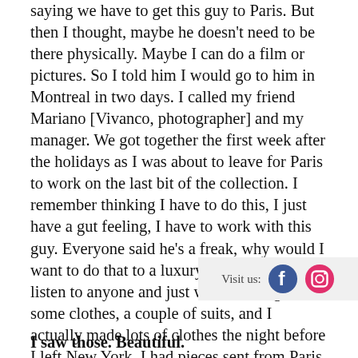saying we have to get this guy to Paris. But then I thought, maybe he doesn't need to be there physically. Maybe I can do a film or pictures. So I told him I would go to him in Montreal in two days. I called my friend Mariano [Vivanco, photographer] and my manager. We got together the first week after the holidays as I was about to leave for Paris to work on the last bit of the collection. I remember thinking I have to do this, I just have a gut feeling, I have to work with this guy. Everyone said he's a freak, why would I want to do that to a luxury brand? I didn't listen to anyone and just went. I brought some clothes, a couple of suits, and I actually made lots of clothes the night before I left New York. I had pieces sent from Paris and was just making stuff in my house, and then took everything to Montreal and we did a photo shoot and video. The photos are the ones we just launched as a visual campaign.
[Figure (other): Visit us label with Facebook and Instagram icons]
I saw those. Beautiful.